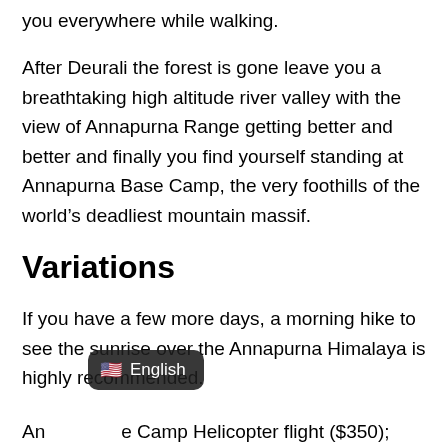you everywhere while walking.
After Deurali the forest is gone leave you a breathtaking high altitude river valley with the view of Annapurna Range getting better and better and finally you find yourself standing at Annapurna Base Camp, the very foothills of the world’s deadliest mountain massif.
Variations
If you have a few more days, a morning hike to see the sunrise over the Annapurna Himalaya is highly recommended.
[Figure (screenshot): Language selector pill button showing US flag emoji and 'English' text on dark background]
An... e Camp Helicopter flight ($350);